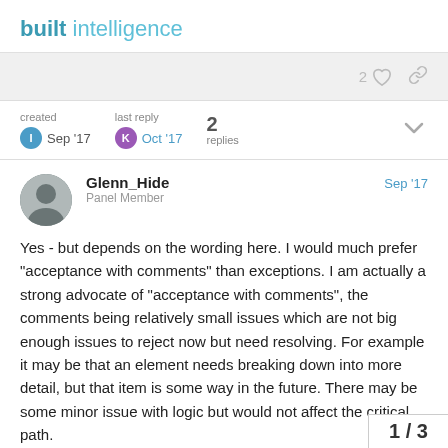built intelligence
2 ♡ 🔗
| created | last reply | replies |
| --- | --- | --- |
| Sep '17 | Oct '17 | 2 |
Glenn_Hide
Panel Member
Sep '17
Yes - but depends on the wording here. I would much prefer "acceptance with comments" than exceptions. I am actually a strong advocate of "acceptance with comments", the comments being relatively small issues which are not big enough issues to reject now but need resolving. For example it may be that an element needs breaking down into more detail, but that item is some way in the future. There may be some minor issue with logic but would not affect the critical path.
1 / 3